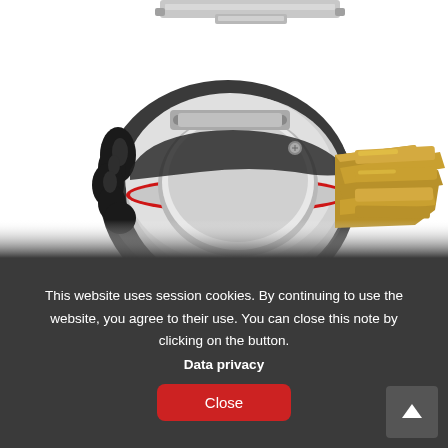[Figure (photo): Close-up photo of an industrial electrical/mechanical connector with a circular silver and black body featuring a red O-ring seal, black rubber grip protrusions, and gold-colored metal contact pins/blades extending from the right side. The top portion shows a partial view of a grey metal bracket or mounting piece.]
This website uses session cookies. By continuing to use the website, you agree to their use. You can close this note by clicking on the button.
Data privacy
Close